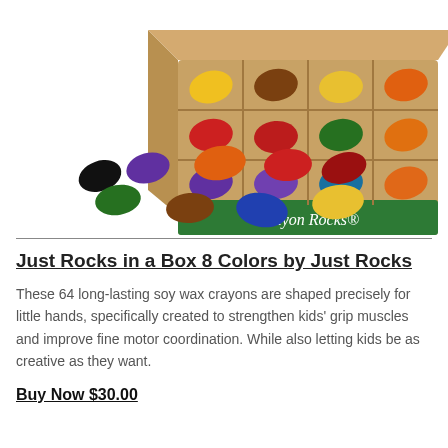[Figure (photo): Photo of Crayon Rocks box containing colorful egg-shaped soy wax crayons in a cardboard box with grid dividers, and several individual crayon rocks scattered in front in various colors: black, purple, orange, red, green, brown, blue, yellow.]
Just Rocks in a Box 8 Colors by Just Rocks
These 64 long-lasting soy wax crayons are shaped precisely for little hands, specifically created to strengthen kids' grip muscles and improve fine motor coordination. While also letting kids be as creative as they want.
Buy Now $30.00